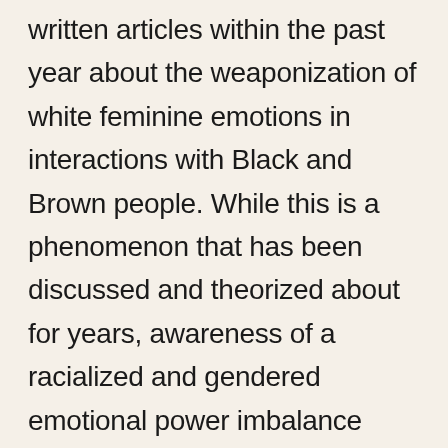written articles within the past year about the weaponization of white feminine emotions in interactions with Black and Brown people. While this is a phenomenon that has been discussed and theorized about for years, awareness of a racialized and gendered emotional power imbalance finally seems to be making it's way into progressive white consciousness.
These ideas about the weight of white